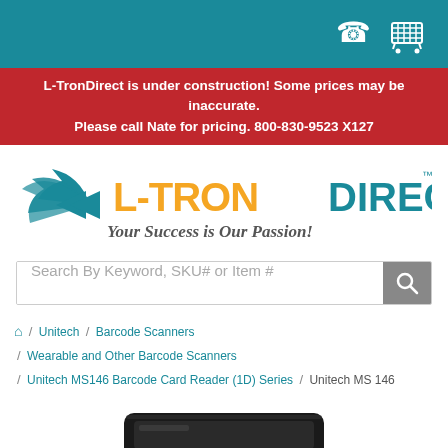[Figure (screenshot): Top teal navigation bar with telephone and shopping cart icons on the right]
L-TronDirect is under construction! Some prices may be inaccurate. Please call Nate for pricing. 800-830-9523 X127
[Figure (logo): L-TronDirect logo with teal arrow icon, orange L-TRON text, teal DIRECT text, and italic tagline 'Your Success is Our Passion!']
Search By Keyword, SKU# or Item #
🏠 / Unitech / Barcode Scanners / Wearable and Other Barcode Scanners / Unitech MS146 Barcode Card Reader (1D) Series / Unitech MS 146
[Figure (photo): Unitech MS146 barcode card reader device, black colored, shown from a top-angle view]